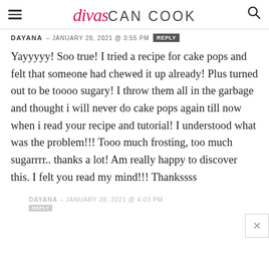divas CAN COOK
DAYANA – JANUARY 28, 2021 @ 3:55 PM REPLY
Yayyyyy! Soo true! I tried a recipe for cake pops and felt that someone had chewed it up already! Plus turned out to be toooo sugary! I throw them all in the garbage and thought i will never do cake pops again till now when i read your recipe and tutorial! I understood what was the problem!!! Tooo much frosting, too much sugarrrr.. thanks a lot! Am really happy to discover this. I felt you read my mind!!! Thankssss
DAYANA – JANUARY 28, 2021 @ 4:03 PM REPLY